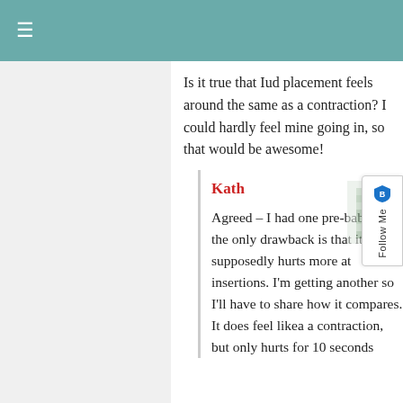≡
Is it true that Iud placement feels around the same as a contraction? I could hardly feel mine going in, so that would be awesome!
Kath
Agreed – I had one pre-baby and the only drawback is that it supposedly hurts more at insertions. I'm getting another so I'll have to share how it compares. It does feel likea a contraction, but only hurts for 10 seconds